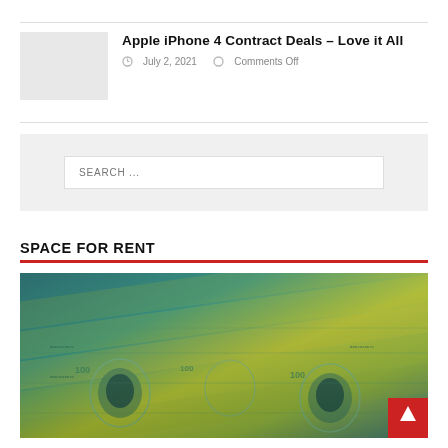Apple iPhone 4 Contract Deals – Love it All
July 2, 2021   Comments Off
[Figure (screenshot): Search box with placeholder text SEARCH ...]
SPACE FOR RENT
[Figure (photo): Teal/green tinted photo of US $100 dollar bills spread out]